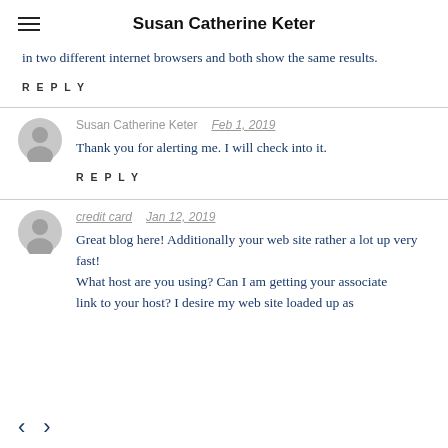Susan Catherine Keter
in two different internet browsers and both show the same results.
REPLY
Susan Catherine Keter   Feb 1, 2019
Thank you for alerting me. I will check into it.
REPLY
credit card   Jan 12, 2019
Great blog here! Additionally your web site rather a lot up very fast! What host are you using? Can I am getting your associate link to your host? I desire my web site loaded up as